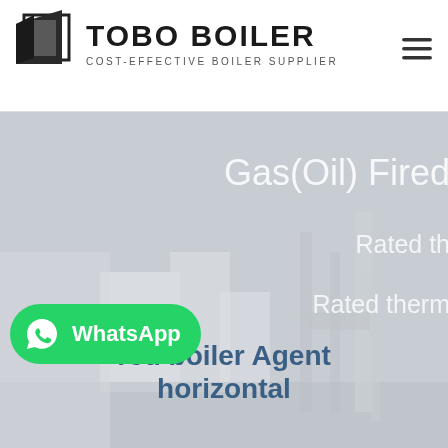[Figure (logo): Tobo Boiler logo with geometric icon, company name TOBO BOILER in bold, subtitle COST-EFFECTIVE BOILER SUPPLIER]
[Figure (photo): Hero banner with industrial boiler plant image overlaid with text: Gas(Oil) Fired, Rated th..., Rated therm... in light white text on gray background. Bottom shows dark blue bold text: red boiler Agent horizontal. WhatsApp green button overlay on left.]